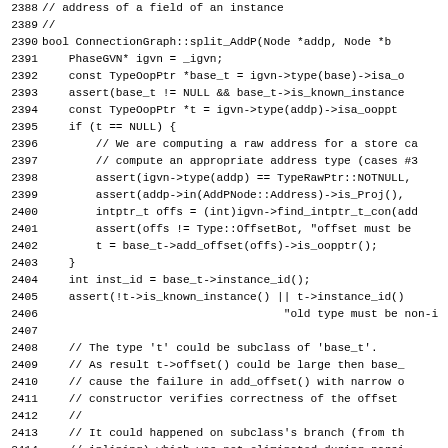Source code listing, lines 2388-2418, C++ ConnectionGraph::split_AddP function implementation